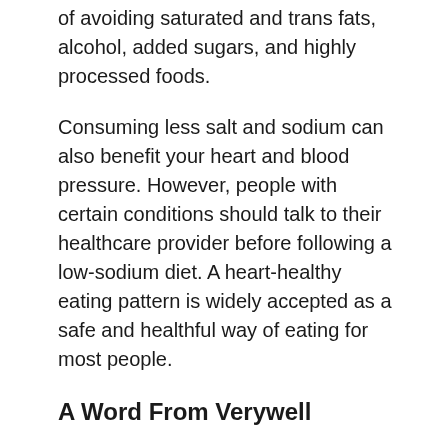of avoiding saturated and trans fats, alcohol, added sugars, and highly processed foods.
Consuming less salt and sodium can also benefit your heart and blood pressure. However, people with certain conditions should talk to their healthcare provider before following a low-sodium diet. A heart-healthy eating pattern is widely accepted as a safe and healthful way of eating for most people.
A Word From Verywell
Managing hypertrophic cardiomyopathy may mean you'll need to modify the way you eat. While a heart-healthy diet can be sustainable and flexible, it can take effort and follow-through to get the most from it.
Teaming up with your partner or a supportive friend or family member may make it easier to choose more